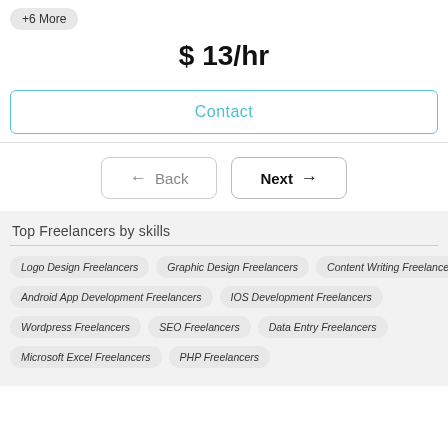+6 More
$ 13/hr
Contact
Back
Next
Top Freelancers by skills
Logo Design Freelancers
Graphic Design Freelancers
Content Writing Freelancers
Android App Development Freelancers
IOS Development Freelancers
Wordpress Freelancers
SEO Freelancers
Data Entry Freelancers
Microsoft Excel Freelancers
PHP Freelancers